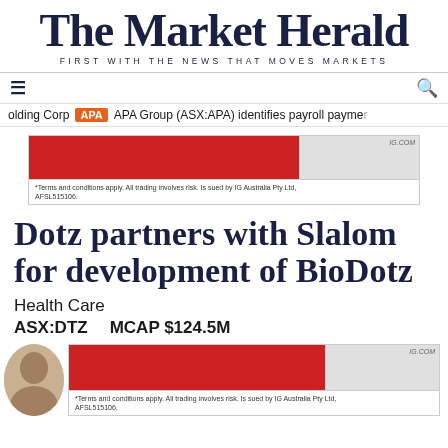The Market Herald
FIRST WITH THE NEWS THAT MOVES MARKETS
≡  🔍
olding Corp  APA  APA Group (ASX:APA) identifies payroll payment
[Figure (other): IG.COM advertisement banner with red and grey sections. Text: *Terms and conditions apply. All trading involves risk. Issued by IG Australia Pty Ltd, AFSL515106.]
Dotz partners with Slalom for development of BioDotz
Health Care
ASX:DTZ    MCAP $124.5M
[Figure (other): IG.COM advertisement banner with red and grey sections beside a thumbnail photo of a person. Text: *Terms and conditions apply. All trading involves risk. Issued by IG Australia Pty Ltd, AFSL515106.]